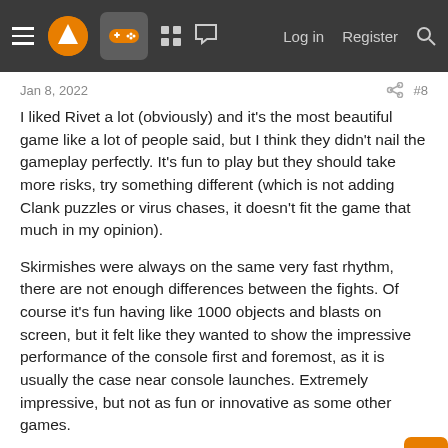Navigation bar with hamburger menu, logo, gamepad icon (active), grid icon, chat icon, Log in, Register, Search
Jan 8, 2022   #8
I liked Rivet a lot (obviously) and it's the most beautiful game like a lot of people said, but I think they didn't nail the gameplay perfectly. It's fun to play but they should take more risks, try something different (which is not adding Clank puzzles or virus chases, it doesn't fit the game that much in my opinion).
Skirmishes were always on the same very fast rhythm, there are not enough differences between the fights. Of course it's fun having like 1000 objects and blasts on screen, but it felt like they wanted to show the impressive performance of the console first and foremost, as it is usually the case near console launches. Extremely impressive, but not as fun or innovative as some other games.
Weapons should feel more impactful, and they should find a way to remove the weapons wheel, it hurts the tempo a bit. I